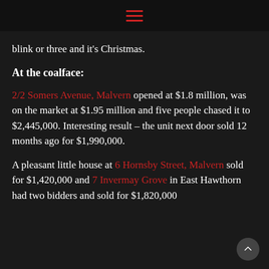hamburger menu icon
blink or three and it’s Christmas.
At the coalface:
2/2 Somers Avenue, Malvern opened at $1.8 million, was on the market at $1.95 million and five people chased it to $2,445,000. Interesting result – the unit next door sold 12 months ago for $1,990,000.
A pleasant little house at 6 Hornsby Street, Malvern sold for $1,420,000 and 7 Invermay Grove in East Hawthorn had two bidders and sold for $1,820,000